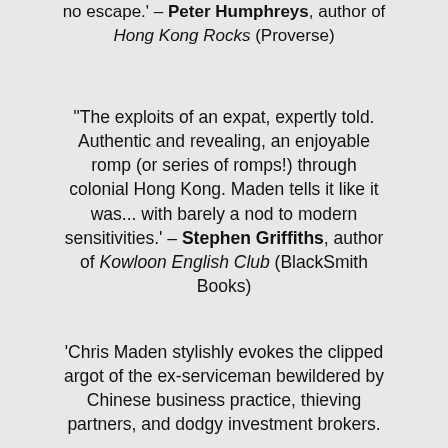no escape.' – Peter Humphreys, author of Hong Kong Rocks (Proverse)
"The exploits of an expat, expertly told. Authentic and revealing, an enjoyable romp (or series of romps!) through colonial Hong Kong. Maden tells it like it was... with barely a nod to modern sensitivities.' – Stephen Griffiths, author of Kowloon English Club (BlackSmith Books)
'Chris Maden stylishly evokes the clipped argot of the ex-serviceman bewildered by Chinese business practice, thieving partners, and dodgy investment brokers.